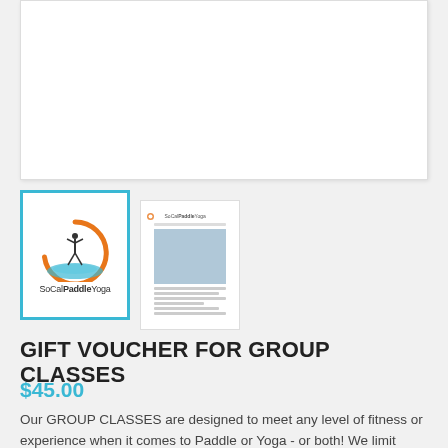[Figure (other): White rectangular box area at top of page, likely product image placeholder]
[Figure (logo): SoCalPaddleYoga logo - orange circle with silhouette of person doing yoga on paddleboard, turquoise water illustration below, text SoCalPaddleYoga]
[Figure (screenshot): Thumbnail of a SoCalPaddleYoga document/flyer with header logo, photo of people paddleboarding, and text content]
GIFT VOUCHER FOR GROUP CLASSES
$45.00
Our GROUP CLASSES are designed to meet any level of fitness or experience when it comes to Paddle or Yoga - or both! We limit each class to 10 students to give every one the attention they require and deserve on the water. Swimming is a prerequisite for all classes and the minimum